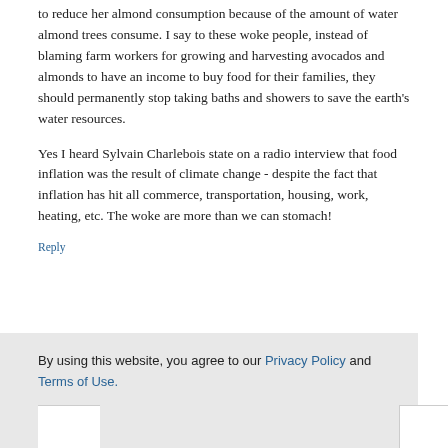to reduce her almond consumption because of the amount of water almond trees consume. I say to these woke people, instead of blaming farm workers for growing and harvesting avocados and almonds to have an income to buy food for their families, they should permanently stop taking baths and showers to save the earth's water resources.
Yes I heard Sylvain Charlebois state on a radio interview that food inflation was the result of climate change - despite the fact that inflation has hit all commerce, transportation, housing, work, heating, etc. The woke are more than we can stomach!
Reply
By using this website, you agree to our Privacy Policy and Terms of Use.
ACCEPT